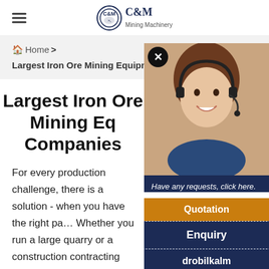C&M Mining Machinery
Home > Largest Iron Ore Mining Equipment Companies
Largest Iron Ore Mining Equipment Companies
[Figure (photo): Customer service representative with headset smiling, used in chat widget overlay]
Have any requests, click here.
Quotation
Enquiry
drobilkalm@gmail.com
Chat
For every production challenge, there is a solution - when you have the right pa… Whether you run a large quarry or a construction contracting business, we… business personally. We offer the highest